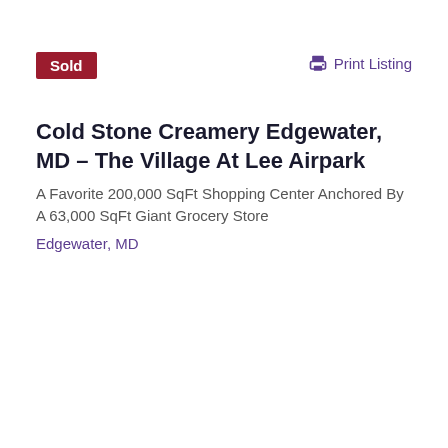Sold
Print Listing
Cold Stone Creamery Edgewater, MD – The Village At Lee Airpark
A Favorite 200,000 SqFt Shopping Center Anchored By A 63,000 SqFt Giant Grocery Store
Edgewater, MD